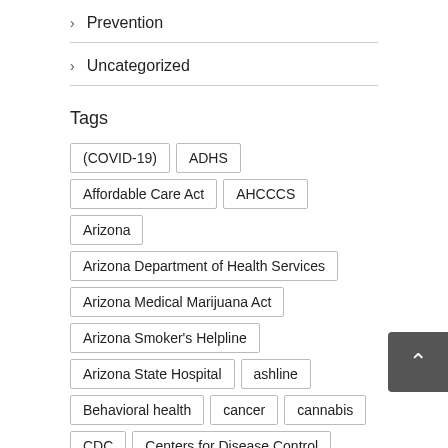> Prevention
> Uncategorized
Tags
(COVID-19) ADHS Affordable Care Act AHCCCS Arizona Arizona Department of Health Services Arizona Medical Marijuana Act Arizona Smoker's Helpline Arizona State Hospital ashline Behavioral health cancer cannabis CDC Centers for Disease Control Centers for Disease Control and Prevention childhood obesity COVID-19 Vaccine diabetes EMS FDA flu food safety health health care heart disease HIV hospital infectious disease influenza Licensing